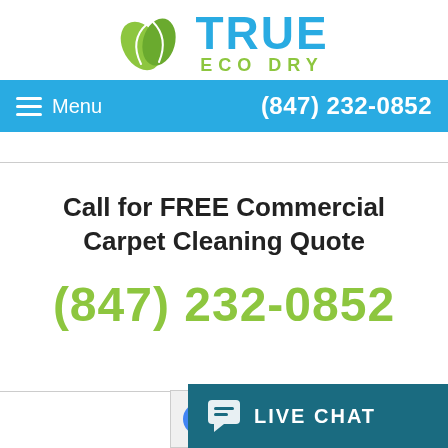[Figure (logo): True Eco Dry logo with two green leaves and blue TRUE text with olive ECO DRY subtitle]
Menu  (847) 232-0852
Call for FREE Commercial Carpet Cleaning Quote
(847) 232-0852